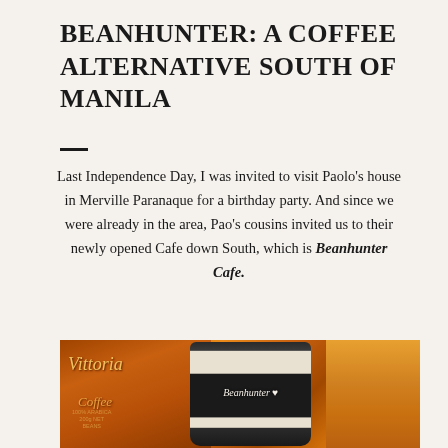BEANHUNTER: A COFFEE ALTERNATIVE SOUTH OF MANILA
Last Independence Day, I was invited to visit Paolo's house in Merville Paranaque for a birthday party. And since we were already in the area, Pao's cousins invited us to their newly opened Cafe down South, which is Beanhunter Cafe.
[Figure (photo): Photo of a Beanhunter branded travel coffee cup next to a Vittoria Coffee bag, with warm orange-toned lighting]